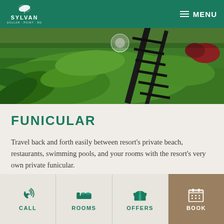SYLVAN — MENU
[Figure (photo): Aerial view of green hillside garden with lush tropical plants and a funicular rail track running diagonally]
FUNICULAR
Travel back and forth easily between resort's private beach, restaurants, swimming pools, and your rooms with the resort's very own private funicular.
[Figure (photo): Close-up of bamboo or tropical tree branches with yellow-green foliage]
CALL   ROOMS   OFFERS   BOOK